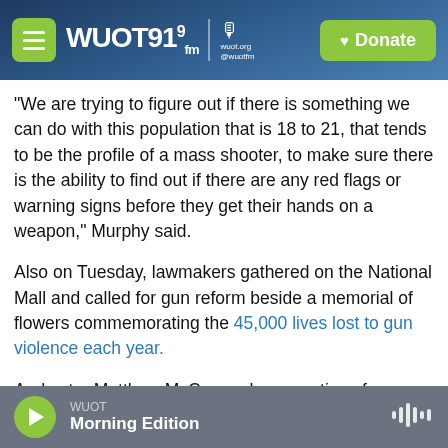WUOT 91.9 FM | Donate
"We are trying to figure out if there is something we can do with this population that is 18 to 21, that tends to be the profile of a mass shooter, to make sure there is the ability to find out if there are any red flags or warning signs before they get their hands on a weapon," Murphy said.
Also on Tuesday, lawmakers gathered on the National Mall and called for gun reform beside a memorial of flowers commemorating the 45,000 lives lost to gun violence each year.
And actor Matthew McConaughey, a native of
WUOT | Morning Edition